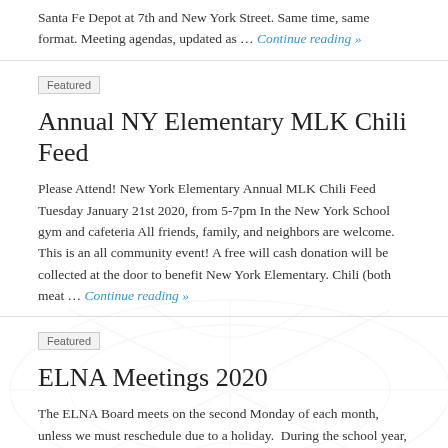Santa Fe Depot at 7th and New York Street. Same time, same format. Meeting agendas, updated as … Continue reading »
Featured
Annual NY Elementary MLK Chili Feed
Please Attend! New York Elementary Annual MLK Chili Feed Tuesday January 21st 2020, from 5-7pm In the New York School gym and cafeteria All friends, family, and neighbors are welcome.  This is an all community event! A free will cash donation will be collected at the door to benefit New York Elementary. Chili (both meat … Continue reading »
Featured
ELNA Meetings 2020
The ELNA Board meets on the second Monday of each month, unless we must reschedule due to a holiday.  During the school year, we meet at New York School, 936 New York St, in the library. During the summer months, when the school is closed, we usually meet at the Delaware Street Commons common house, … Continue reading »